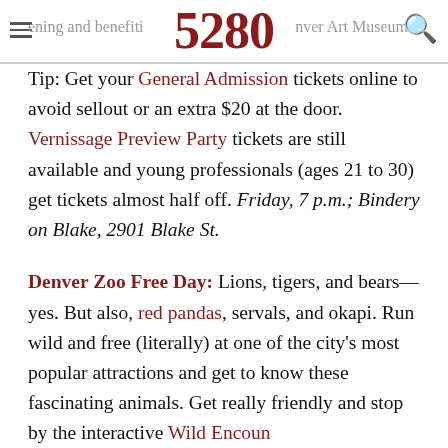5280 — evening and benefiting Denver Art Museum
Tip: Get your General Admission tickets online to avoid sellout or an extra $20 at the door. Vernissage Preview Party tickets are still available and young professionals (ages 21 to 30) get tickets almost half off. Friday, 7 p.m.; Bindery on Blake, 2901 Blake St.
Denver Zoo Free Day: Lions, tigers, and bears—yes. But also, red pandas, servals, and okapi. Run wild and free (literally) at one of the city's most popular attractions and get to know these fascinating animals. Get really friendly and stop by the interactive Wild Encounter...